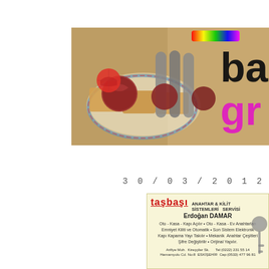[Figure (photo): Food photo showing meats, sausages on a plate with bread, overlaid with partial text 'ba' in black and 'gr' in magenta/pink, plus a colorful bar element at top right]
30/03/2012
[Figure (infographic): Advertisement card for 'taşbaşı ANAHTAR & KİLİT SİSTEMLERİ SERVİSİ' with contact person Erdoğan DAMAR, services listed: Oto - Kasa - Kapı Açılır • Oto - Kasa - Ev Anahtarları, Emniyet Kiliti ve Otomatik • Son Sistem Elektronik, Kapı Kapama Yayı Takılır • Mekanik Anahtar Çeşitleri, Şifre Değiştirilir • Orijinal Yapılır. Address: Arifiye Moh. Kireççiler Sk. Tel:(0222) 231 55 14, Hamamyolu Cd. No:8 ESKİŞEHİR Cep:(0533) 477 96 81]